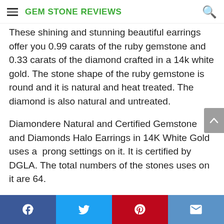GEM STONE REVIEWS
These shining and stunning beautiful earrings offer you 0.99 carats of the ruby gemstone and 0.33 carats of the diamond crafted in a 14k white gold. The stone shape of the ruby gemstone is round and it is natural and heat treated. The diamond is also natural and untreated.
Diamondere Natural and Certified Gemstone and Diamonds Halo Earrings in 14K White Gold uses a prong settings on it. It is certified by DGLA. The total numbers of the stones uses on it are 64.
Social share bar: Facebook, Twitter, Pinterest, Email